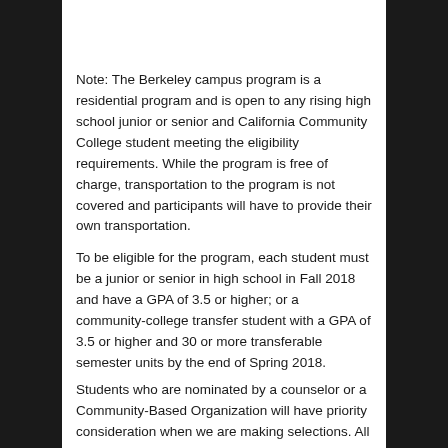Note: The Berkeley campus program is a residential program and is open to any rising high school junior or senior and California Community College student meeting the eligibility requirements. While the program is free of charge, transportation to the program is not covered and participants will have to provide their own transportation.
To be eligible for the program, each student must be a junior or senior in high school in Fall 2018 and have a GPA of 3.5 or higher; or a community-college transfer student with a GPA of 3.5 or higher and 30 or more transferable semester units by the end of Spring 2018.
Students who are nominated by a counselor or a Community-Based Organization will have priority consideration when we are making selections. All